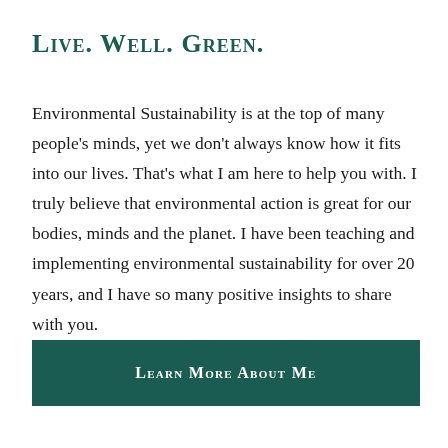Live. Well. Green.
Environmental Sustainability is at the top of many people's minds, yet we don't always know how it fits into our lives. That's what I am here to help you with. I truly believe that environmental action is great for our bodies, minds and the planet. I have been teaching and implementing environmental sustainability for over 20 years, and I have so many positive insights to share with you.
Learn More About Me